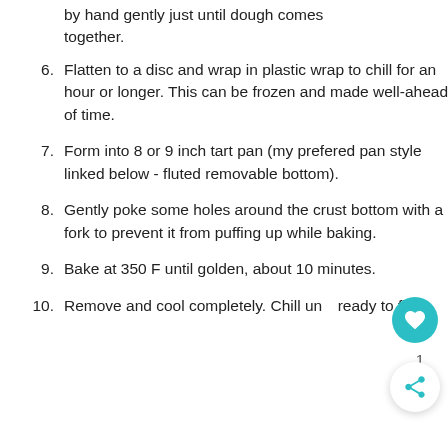by hand gently just until dough comes together.
6. Flatten to a disc and wrap in plastic wrap to chill for an hour or longer. This can be frozen and made well-ahead of time.
7. Form into 8 or 9 inch tart pan (my prefered pan style linked below - fluted removable bottom).
8. Gently poke some holes around the crust bottom with a fork to prevent it from puffing up while baking.
9. Bake at 350 F until golden, about 10 minutes.
10. Remove and cool completely. Chill until ready to fill.